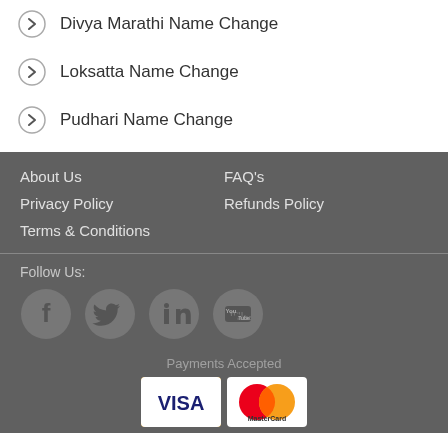Divya Marathi Name Change
Loksatta Name Change
Pudhari Name Change
About Us
FAQ's
Privacy Policy
Refunds Policy
Terms & Conditions
Follow Us:
[Figure (infographic): Social media icons: Facebook, Twitter, LinkedIn, YouTube in circular grey buttons]
Payments Accepted
[Figure (infographic): Payment method logos: VISA and MasterCard]